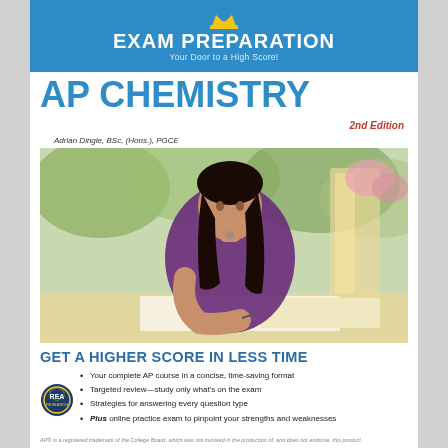EXAM PREPARATION
Your Door to a High Score!
AP CHEMISTRY
2nd Edition
Adrian Dingle, BSc, (Hons.), PGCE
[Figure (photo): Young woman with long dark hair studying/writing at a desk outdoors, wearing a purple top]
GET A HIGHER SCORE IN LESS TIME
Your complete AP course in a concise, time-saving format
Targeted review—study only what's on the exam
Strategies for answering every question type
Plus online practice exam to pinpoint your strengths and weaknesses
AP® is a registered trademark of the College Board, which was not involved in the production of, and does not endorse, this product.